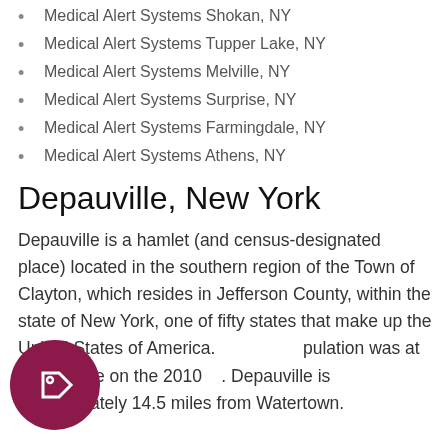Medical Alert Systems Shokan, NY
Medical Alert Systems Tupper Lake, NY
Medical Alert Systems Melville, NY
Medical Alert Systems Surprise, NY
Medical Alert Systems Farmingdale, NY
Medical Alert Systems Athens, NY
Depauville, New York
Depauville is a hamlet (and census-designated place) located in the southern region of the Town of Clayton, which resides in Jefferson County, within the state of New York, one of fifty states that make up the United States of America. …population was at 577 people on the 2010 … Depauville is approximately 14.5 miles from Watertown.